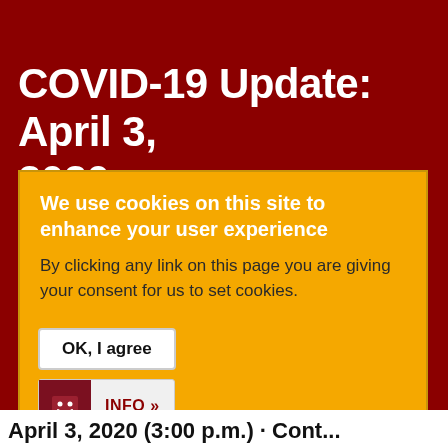COVID-19 Update: April 3, 2020
We use cookies on this site to enhance your user experience
By clicking any link on this page you are giving your consent for us to set cookies.
OK, I agree
INFO »
April 3, 2020 (3:00 p.m.) Cont...